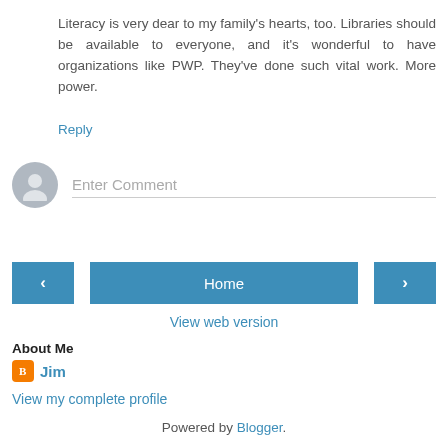Literacy is very dear to my family's hearts, too. Libraries should be available to everyone, and it's wonderful to have organizations like PWP. They've done such vital work. More power.
Reply
Enter Comment
Home
View web version
About Me
Jim
View my complete profile
Powered by Blogger.